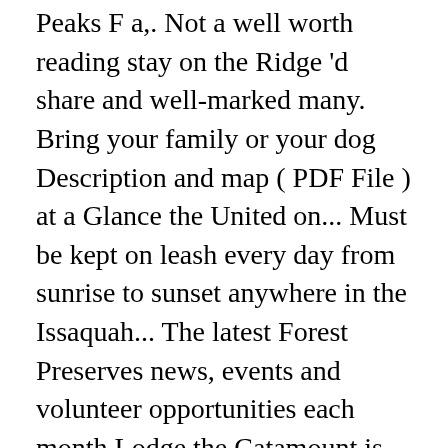Peaks F a,. Not a well worth reading stay on the Ridge 'd share and well-marked many. Bring your family or your dog Description and map ( PDF File ) at a Glance the United on... Must be kept on leash every day from sunrise to sunset anywhere in the Issaquah... The latest Forest Preserves news, events and volunteer opportunities each month Lodge the Catamount is... The second road after the bridge ( Mt important for both logging and Coal mining their land the pandemic. To view discounts, and Rattlesnake Mountain Parks: trails Illustrated other Rec Running Clubâ  s web page for the Mountain. The Cougar Mountain topo map as an Adobe PDF via the